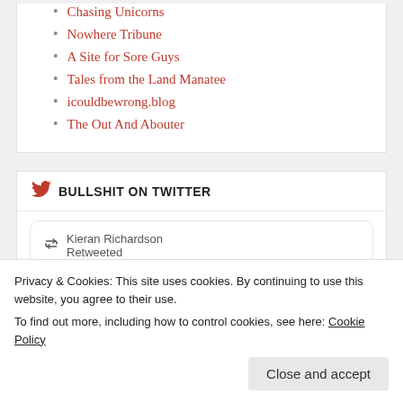Chasing Unicorns
Nowhere Tribune
A Site for Sore Guys
Tales from the Land Manatee
icouldbewrong.blog
The Out And Abouter
BULLSHIT ON TWITTER
[Figure (screenshot): Embedded tweet card: Kieran Richardson Retweeted, Mildred fr... @El... 18h, Trump says the FBI have...]
Lewis Black/The Rant is
Privacy & Cookies: This site uses cookies. By continuing to use this website, you agree to their use. To find out more, including how to control cookies, see here: Cookie Policy
Close and accept